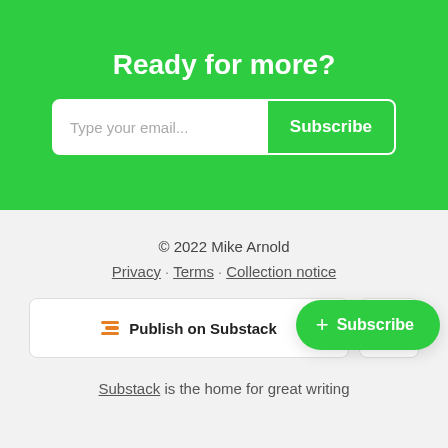Ready for more?
Type your email...
Subscribe
© 2022 Mike Arnold
Privacy · Terms · Collection notice
Publish on Substack
+ Subscribe
Substack is the home for great writing